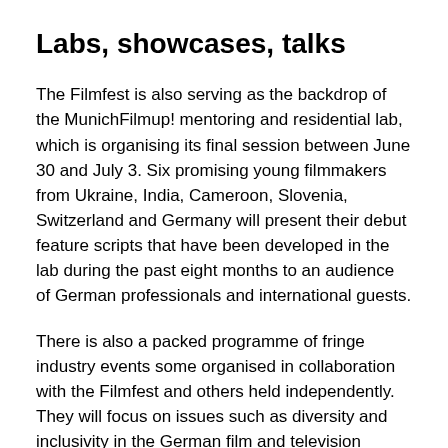Labs, showcases, talks
The Filmfest is also serving as the backdrop of the MunichFilmup! mentoring and residential lab, which is organising its final session between June 30 and July 3. Six promising young filmmakers from Ukraine, India, Cameroon, Slovenia, Switzerland and Germany will present their debut feature scripts that have been developed in the lab during the past eight months to an audience of German professionals and international guests.
There is also a packed programme of fringe industry events some organised in collaboration with the Filmfest and others held independently. They will focus on issues such as diversity and inclusivity in the German film and television industry, artistic freedom, calls for radical reform to the German film funding landscape as well as